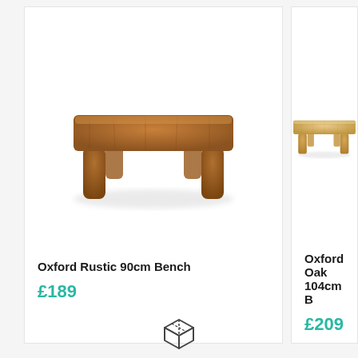[Figure (photo): Oxford Rustic 90cm Bench - wooden bench with dark rustic oak finish, rectangular top and four sturdy legs]
Oxford Rustic 90cm Bench
£189
[Figure (photo): Oxford Oak 104cm Bench - lighter oak finish bench, partially cropped, showing seat and legs]
Oxford Oak 104cm B
£209
[Figure (illustration): Box/package icon - outline drawing of a 3D box]